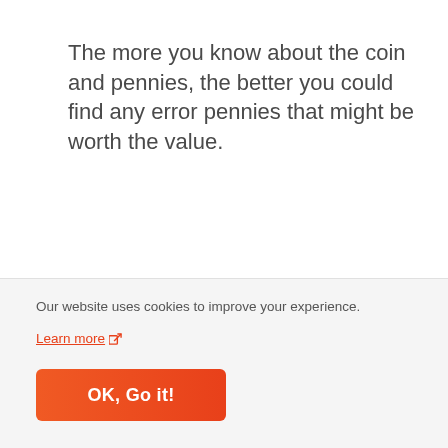The more you know about the coin and pennies, the better you could find any error pennies that might be worth the value.
Luckily, we are here to help you, here are a few frequently asked questions that might pop up when you are finding, and hunting error pennies.
Our website uses cookies to improve your experience. Learn more